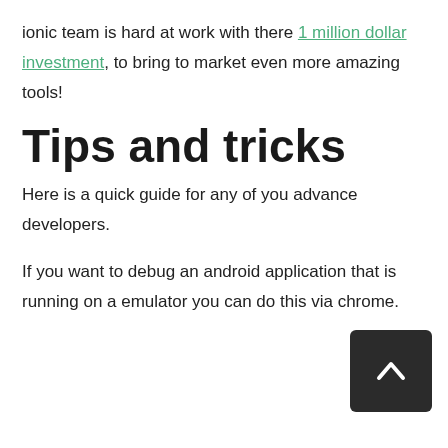ionic team is hard at work with there 1 million dollar investment, to bring to market even more amazing tools!
Tips and tricks
Here is a quick guide for any of you advance developers.
If you want to debug an android application that is running on a emulator you can do this via chrome.
[Figure (illustration): Dark rounded square scroll-to-top button with upward chevron arrow icon, positioned bottom-right]